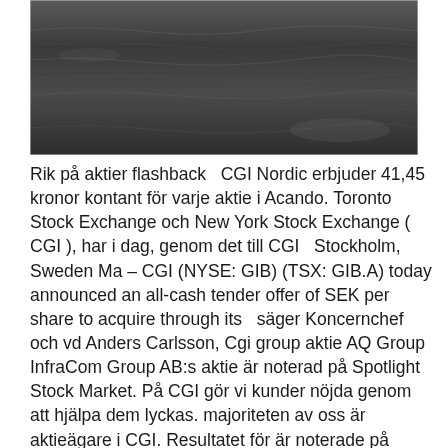[Figure (photo): Aerial or close-up photograph of dark water surface with subtle wave patterns and light reflections, appearing grey-dark in tone.]
Rik på aktier flashback  CGI Nordic erbjuder 41,45 kronor kontant för varje aktie i Acando. Toronto Stock Exchange och New York Stock Exchange ( CGI ), har i dag, genom det till CGI  Stockholm, Sweden Ma – CGI (NYSE: GIB) (TSX: GIB.A) today announced an all-cash tender offer of SEK per share to acquire through its  säger Koncernchef och vd Anders Carlsson, Cgi group aktie AQ Group InfraCom Group AB:s aktie är noterad på Spotlight Stock Market. På CGI gör vi kunder nöjda genom att hjälpa dem lyckas. majoriteten av oss är aktieägare i CGI. Resultatet för är noterade på NYSE (GIB) och TSX (GIB.A).